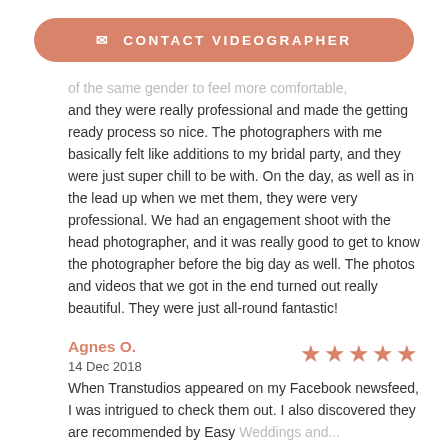✉ CONTACT VIDEOGRAPHER
of the same gender to feel more comfortable, and they were really professional and made the getting ready process so nice. The photographers with me basically felt like additions to my bridal party, and they were just super chill to be with. On the day, as well as in the lead up when we met them, they were very professional. We had an engagement shoot with the head photographer, and it was really good to get to know the photographer before the big day as well. The photos and videos that we got in the end turned out really beautiful. They were just all-round fantastic!
Agnes O.
14 Dec 2018
When Transtudios appeared on my Facebook newsfeed, I was intrigued to check them out. I also discovered they are recommended by Easy Weddings and...